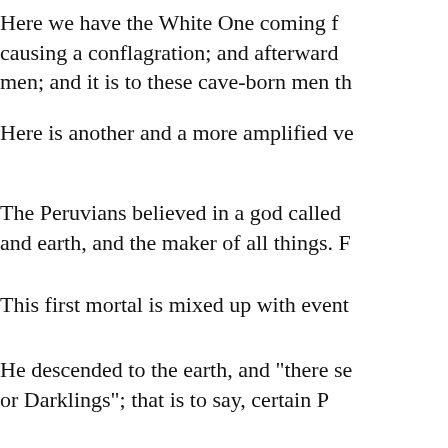Here we have the White One coming f causing a conflagration; and afterward men; and it is to these cave-born men th
Here is another and a more amplified ve
The Peruvians believed in a god called and earth, and the maker of all things. F
This first mortal is mixed up with event
He descended to the earth, and "there se or Darklings"; that is to say, certain P crime they destroyed him." That is to sa for ever.
"Their sister proved pregnant, and die moon. "From these emerged the two br
Then followed the same great battle, to which always ends, as in the case of C